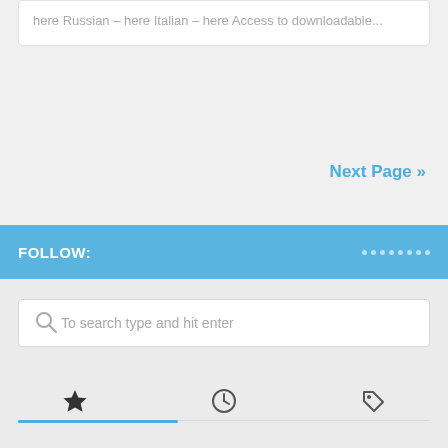here Russian – here Italian – here Access to downloadable...
Next Page »
FOLLOW:
[Figure (screenshot): Search bar with magnifying glass icon and placeholder text 'To search type and hit enter']
[Figure (infographic): Three icons in a row: star (favorites), clock (recent), tag (tags), with a blue underline tab indicator below the star icon]